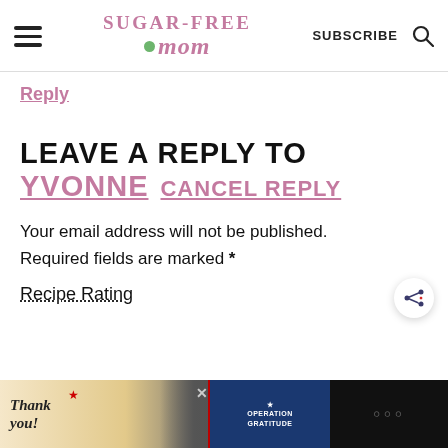Sugar-Free Mom — SUBSCRIBE
Reply
LEAVE A REPLY TO YVONNE CANCEL REPLY
Your email address will not be published. Required fields are marked *
Recipe Rating
[Figure (screenshot): Advertisement banner: 'Thank you!' with Operation Gratitude ad showing firefighters]